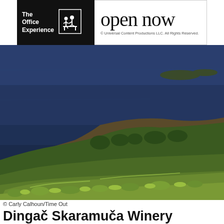[Figure (advertisement): The Office Experience advertisement banner with logo and 'open now' text. Black background on left with The Office Experience logo and person icon, white background on right with large 'open now' text and Universal Content Productions copyright notice.]
[Figure (photo): Aerial/hillside photograph of Dingač Skaramuča Winery vineyard overlooking a deep blue sea (Adriatic). Green grapevines cover steep hillside slopes in the foreground, with rocky terrain and trees in the middle ground, and the dark blue water stretching to the horizon with small islands visible in the distance.]
© Carly Calhoun/Time Out
Dingač Skaramuča Winery